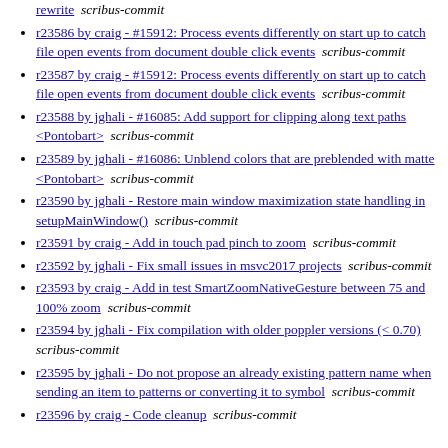rewrite  scribus-commit (partial, top)
r23586 by craig - #15912: Process events differently on start up to catch file open events from document double click events   scribus-commit
r23587 by craig - #15912: Process events differently on start up to catch file open events from document double click events   scribus-commit
r23588 by jghali - #16085: Add support for clipping along text paths <Pontobart>   scribus-commit
r23589 by jghali - #16086: Unblend colors that are preblended with matte <Pontobart>   scribus-commit
r23590 by jghali - Restore main window maximization state handling in setupMainWindow()   scribus-commit
r23591 by craig - Add in touch pad pinch to zoom   scribus-commit
r23592 by jghali - Fix small issues in msvc2017 projects  scribus-commit
r23593 by craig - Add in test SmartZoomNativeGesture between 75 and 100% zoom   scribus-commit
r23594 by jghali - Fix compilation with older poppler versions (< 0.70)   scribus-commit
r23595 by jghali - Do not propose an already existing pattern name when sending an item to patterns or converting it to symbol   scribus-commit
r23596 by craig - Code cleanup   scribus-commit